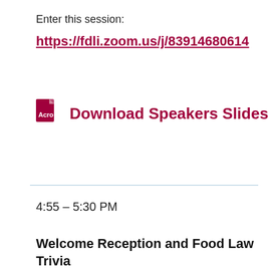Enter this session:
https://fdli.zoom.us/j/83914680614
[Figure (other): PDF file icon (red/dark red Adobe PDF-style icon)]
Download Speakers Slides
4:55 – 5:30 PM
Welcome Reception and Food Law Trivia Contest